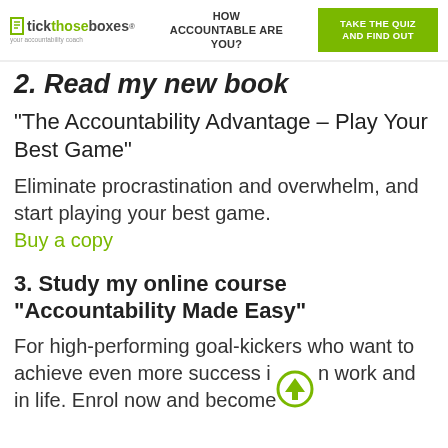HOW ACCOUNTABLE ARE YOU? | TAKE THE QUIZ AND FIND OUT
2. Read my new book
"The Accountability Advantage – Play Your Best Game"
Eliminate procrastination and overwhelm, and start playing your best game. Buy a copy
3. Study my online course "Accountability Made Easy"
For high-performing goal-kickers who want to achieve even more success in work and in life. Enrol now and become